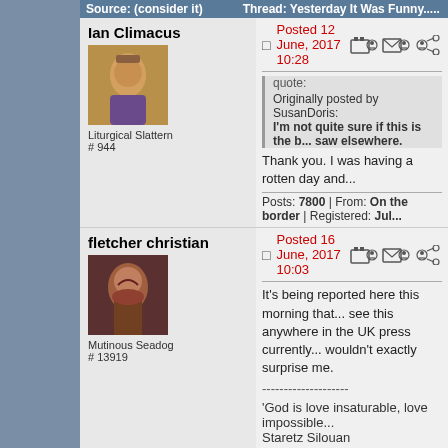Source: (consider it)   Thread: Yesterday It Was Funny.....
Ian Climacus
Liturgical Slattern
# 944
Posted 12 June, 2017 10:28
quote:
Originally posted by SusanDoris:
I'm not quite sure if this is the b... saw elsewhere.
Thank you. I was having a rotten day and...
Posts: 7800 | From: On the border | Registered: Jul...
fletcher christian
Mutinous Seadog
# 13919
Posted 16 June, 2017 10:03
It's being reported here this morning that... see this anywhere in the UK press currently... wouldn't exactly surprise me.
--------------------
'God is love insaturable, love impossible...
Staretz Silouan
Posts: 5235 | From: a prefecture | Registered: Jul 20...
mr cheesy
Shipmate
Posted 16 June, 2017 11:09
quote:
Originally posted by fletcher christ...